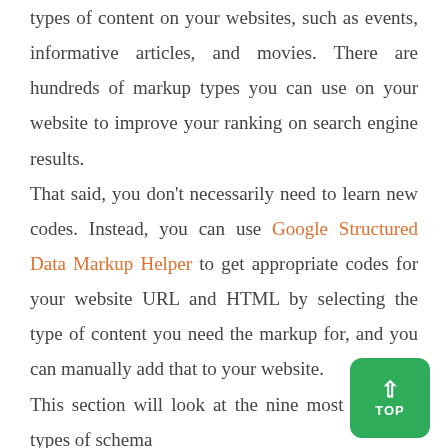types of content on your websites, such as events, informative articles, and movies. There are hundreds of markup types you can use on your website to improve your ranking on search engine results.
That said, you don't necessarily need to learn new codes. Instead, you can use Google Structured Data Markup Helper to get appropriate codes for your website URL and HTML by selecting the type of content you need the markup for, and you can manually add that to your website.
This section will look at the nine most common types of schema